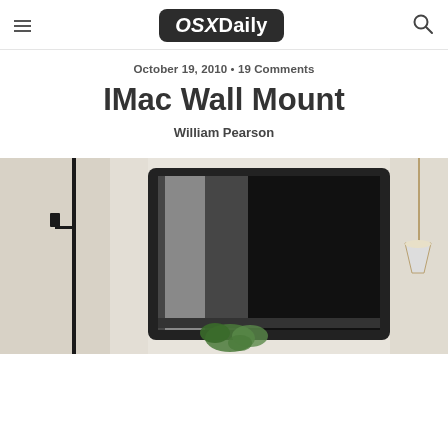OSXDaily
October 19, 2010 • 19 Comments
IMac Wall Mount
William Pearson
[Figure (photo): An iMac mounted on a wall in a minimalist room setting, with a black floor lamp on the left and a pendant lamp on the right, and a plant visible on a shelf below the iMac screen.]